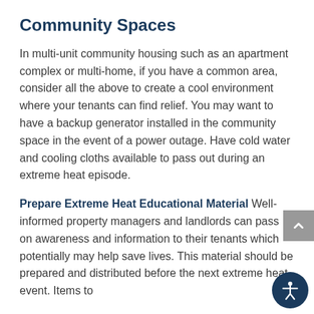Community Spaces
In multi-unit community housing such as an apartment complex or multi-home, if you have a common area, consider all the above to create a cool environment where your tenants can find relief. You may want to have a backup generator installed in the community space in the event of a power outage. Have cold water and cooling cloths available to pass out during an extreme heat episode.
Prepare Extreme Heat Educational Material Well-informed property managers and landlords can pass on awareness and information to their tenants which potentially may help save lives. This material should be prepared and distributed before the next extreme heat event. Items to